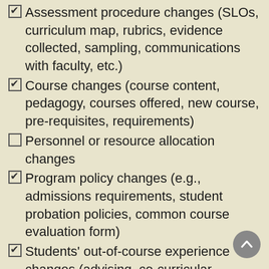Assessment procedure changes (SLOs, curriculum map, rubrics, evidence collected, sampling, communications with faculty, etc.)
Course changes (course content, pedagogy, courses offered, new course, pre-requisites, requirements)
Personnel or resource allocation changes
Program policy changes (e.g., admissions requirements, student probation policies, common course evaluation form)
Students' out-of-course experience changes (advising, co-curricular experiences, program website, program handbook, brown-bag lunches, workshops)
Celebration of student success!
Results indicated no action needed because students met expectations
Use is pending (typical reasons: insufficient number of students in population, evidence not evaluated or...